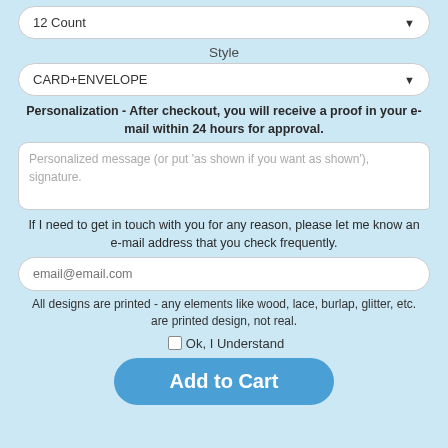[Figure (screenshot): Dropdown selector showing '12 Count' with a down arrow]
Style
[Figure (screenshot): Dropdown selector showing 'CARD+ENVELOPE' with a down arrow]
Personalization - After checkout, you will receive a proof in your e-mail within 24 hours for approval.
[Figure (screenshot): Textarea with placeholder text: Personalized message (or put 'as shown if you want as shown'), signature.]
If I need to get in touch with you for any reason, please let me know an e-mail address that you check frequently.
[Figure (screenshot): Text input field with placeholder: email@email.com]
All designs are printed - any elements like wood, lace, burlap, glitter, etc. are printed design, not real.
Ok, I Understand
[Figure (screenshot): Blue 'Add to Cart' button]